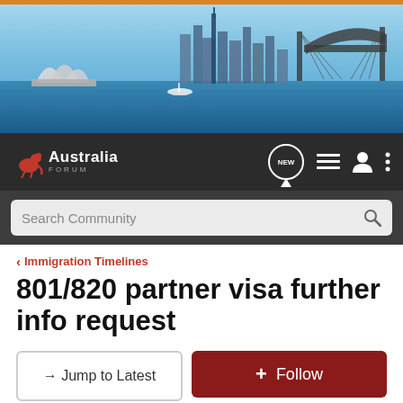[Figure (photo): Aerial panoramic photo of Sydney Harbour showing the Opera House on the left, city skyline in the background, and the Harbour Bridge on the right, with blue water and a boat visible.]
Australia Forum navigation bar with logo, NEW badge, list icon, user icon, and menu icon
Search Community
< Immigration Timelines
801/820 partner visa further info request
→ Jump to Latest
+ Follow
1 - 2 of 2 Posts